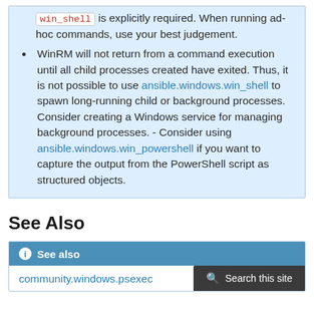win_shell is explicitly required. When running ad-hoc commands, use your best judgement.
WinRM will not return from a command execution until all child processes created have exited. Thus, it is not possible to use ansible.windows.win_shell to spawn long-running child or background processes. Consider creating a Windows service for managing background processes. - Consider using ansible.windows.win_powershell if you want to capture the output from the PowerShell script as structured objects.
See Also
See also
community.windows.psexec
Search this site